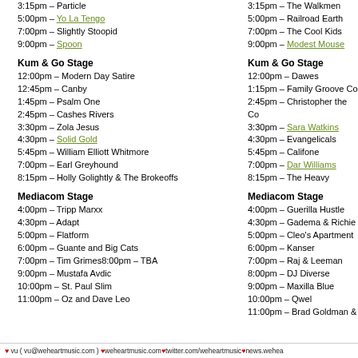3:15pm – Particle
5:00pm – Yo La Tengo
7:00pm – Slightly Stoopid
9:00pm – Spoon
Kum & Go Stage
12:00pm – Modern Day Satire
12:45pm – Canby
1:45pm – Psalm One
2:45pm – Cashes Rivers
3:30pm – Zola Jesus
4:30pm – Solid Gold
5:45pm – William Elliott Whitmore
7:00pm – Earl Greyhound
8:15pm – Holly Golightly & The Brokeoffs
Mediacom Stage
4:00pm – Tripp Marxx
4:30pm – Adapt
5:00pm – Flatform
6:00pm – Guante and Big Cats
7:00pm – Tim Grimes8:00pm – TBA
9:00pm – Mustafa Avdic
10:00pm – St. Paul Slim
11:00pm – Oz and Dave Leo
3:15pm – The Walkmen
5:00pm – Railroad Earth
7:00pm – The Cool Kids
9:00pm – Modest Mouse
Kum & Go Stage
12:00pm – Dawes
1:15pm – Family Groove Co
2:45pm – Christopher the Co
3:30pm – Sara Watkins
4:30pm – Evangelicals
5:45pm – Califone
7:00pm – Dar Williams
8:15pm – The Heavy
Mediacom Stage
4:00pm – Guerilla Hustle
4:30pm – Gadema & Richie
5:00pm – Cleo's Apartment
6:00pm – Kanser
7:00pm – Raj & Leeman
8:00pm – DJ Diverse
9:00pm – Maxilla Blue
10:00pm – Qwel
11:00pm – Brad Goldman &
♥ vu ( vu@weheartmusic.com ) ♥weheartmusic.com♥twitter.com/weheartmusic♥news.wehea